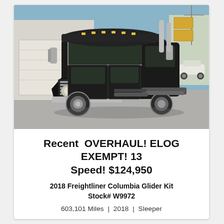[Figure (photo): Black 2018 Freightliner Columbia Glider Kit semi-truck photographed from a front three-quarter angle in a parking lot. Truck is black with chrome accents and polished aluminum wheels.]
Recent OVERHAUL! ELOG EXEMPT! 13 Speed! $124,950
2018 Freightliner Columbia Glider Kit
Stock# W9972
603,101 Miles | 2018 | Sleeper